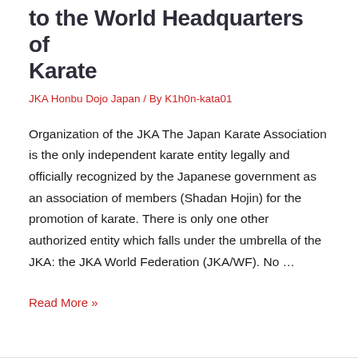to the World Headquarters of Karate
JKA Honbu Dojo Japan / By K1h0n-kata01
Organization of the JKA The Japan Karate Association is the only independent karate entity legally and officially recognized by the Japanese government as an association of members (Shadan Hojin) for the promotion of karate. There is only one other authorized entity which falls under the umbrella of the JKA: the JKA World Federation (JKA/WF). No …
Read More »